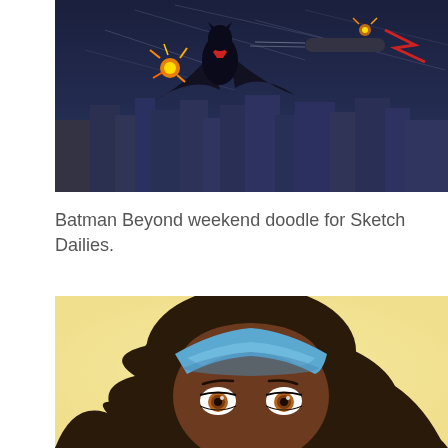[Figure (illustration): Batman Beyond digital illustration showing a caped figure flying over a dark cityscape at night with rockets/explosions and speed lines.]
Batman Beyond weekend doodle for Sketch Dailies.
[Figure (illustration): Close-up digital illustration of a dark-skinned female character with brown eyes and a blue headband/bandana, on a yellow background.]